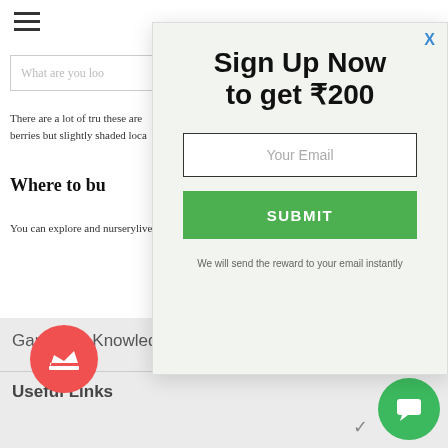[Figure (screenshot): Hamburger menu icon (three horizontal lines) in top left corner of webpage]
[Figure (screenshot): Search bar with placeholder text 'What are you loo']
There are a lot of tru these are berries but slightly shaded loca
Where to bu
You can explore and nurserylive.
[Figure (screenshot): Sign Up Now modal popup with email input and SUBMIT button on light green background. Title: 'Sign Up Now to get ₹200'. Email field placeholder: 'Your Email'. Submit button in green. Note: 'We will send the reward to your email instantly'. Close button 'X' in blue top right.]
Gardening Knowledge
Useful Links
[Figure (illustration): Red circular badge with crown icon]
[Figure (illustration): Green circular chat badge with speech bubble icon]